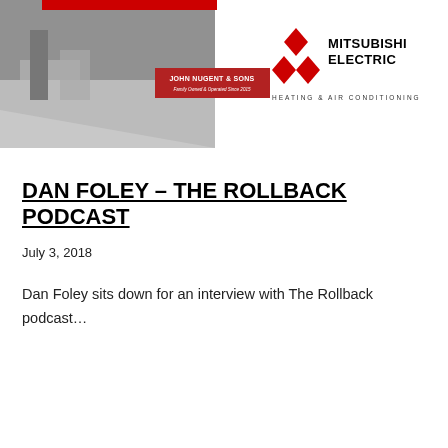[Figure (illustration): Banner image with industrial/warehouse background (grayscale). Contains John Nugent & Sons logo (red box with white text) on the left and Mitsubishi Electric Heating & Air Conditioning logo (red diamond logo mark + text) on the right.]
DAN FOLEY – THE ROLLBACK PODCAST
July 3, 2018
Dan Foley sits down for an interview with The Rollback podcast…